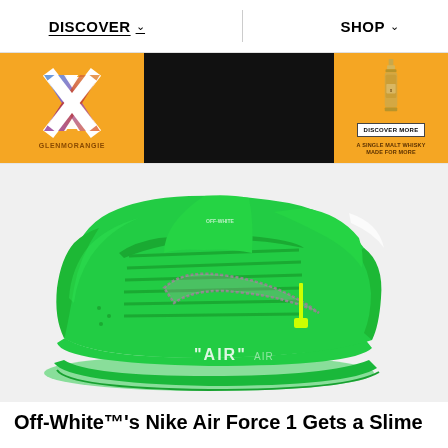DISCOVER   SHOP
[Figure (photo): Glenmorangie advertisement banner with orange background, X logo on left, black video panel in center, whisky bottle and 'DISCOVER MORE' button on right, tagline 'A SINGLE MALT WHISKY MADE FOR MORE']
[Figure (photo): Off-White x Nike Air Force 1 sneaker in slime green colorway on grey background, featuring rhinestone Swoosh, zip-tie tag, and 'AIR' text on midsole]
Off-White™'s Nike Air Force 1 Gets a Slime